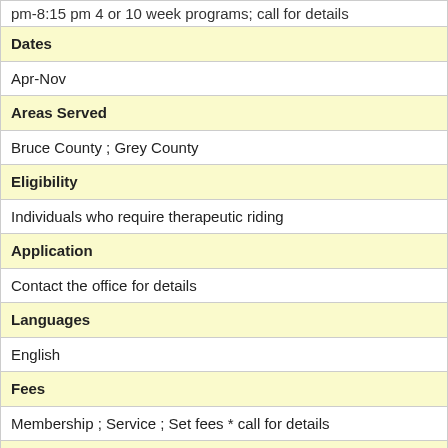pm-8:15 pm  4 or 10 week programs; call for details
| Dates |
| Apr-Nov |
| Areas Served |
| Bruce County ; Grey County |
| Eligibility |
| Individuals who require therapeutic riding |
| Application |
| Contact the office for details |
| Languages |
| English |
| Fees |
| Membership ; Service ; Set fees * call for details |
| Address and Location |
| Site Location |
| North Grey (across from drive in) |
| Located In Community |
| Owen Sound |